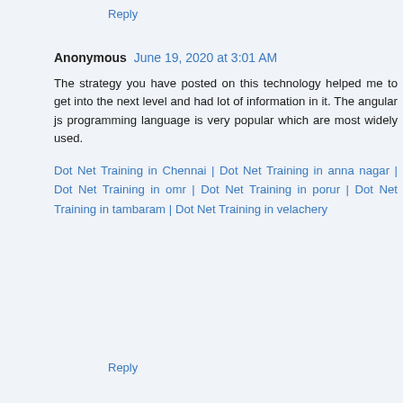Reply
Anonymous  June 19, 2020 at 3:01 AM
The strategy you have posted on this technology helped me to get into the next level and had lot of information in it. The angular js programming language is very popular which are most widely used.
Dot Net Training in Chennai | Dot Net Training in anna nagar | Dot Net Training in omr | Dot Net Training in porur | Dot Net Training in tambaram | Dot Net Training in velachery
Reply